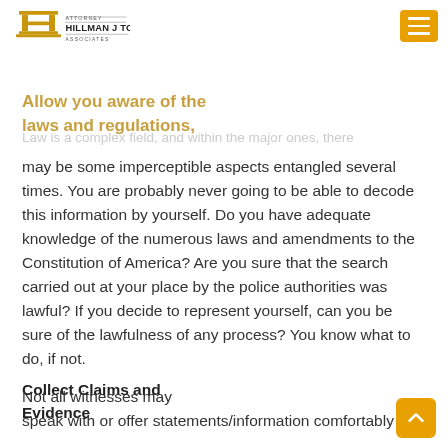Attorney Hillman J Toombs Associates
He is also going to be objective in giving you awareness of the goings-on and what to expect from it.
Allow you aware of the laws and regulations,
Law is a complex field, and within the major ones, there may be some imperceptible aspects entangled several times. You are probably never going to be able to decode this information by yourself. Do you have adequate knowledge of the numerous laws and amendments to the Constitution of America? Are you sure that the search carried out at your place by the police authorities was lawful? If you decide to represent yourself, can you be sure of the lawfulness of any process? You know what to do, if not.
Collect Claims and Evidence
Not all witnesses may speak with or offer statements/information comfortably